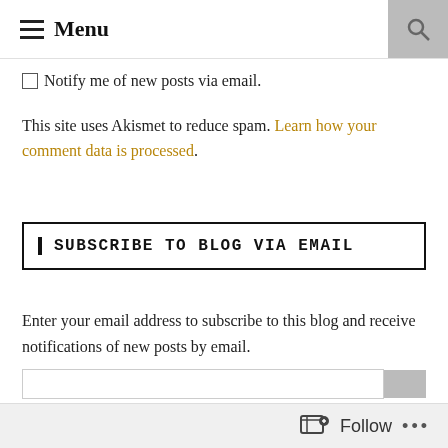☰ Menu
Notify me of new posts via email.
This site uses Akismet to reduce spam. Learn how your comment data is processed.
SUBSCRIBE TO BLOG VIA EMAIL
Enter your email address to subscribe to this blog and receive notifications of new posts by email.
Follow ...